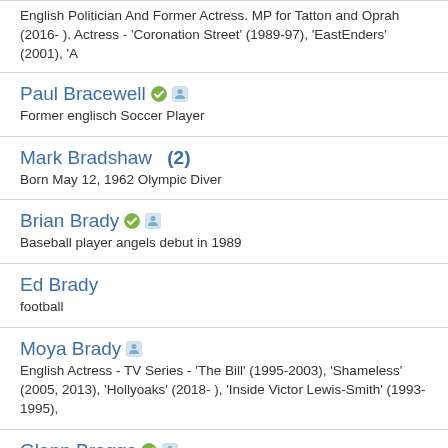English Politician And Former Actress. MP for Tatton and Oprah (2016- ). Actress - 'Coronation Street' (1989-97), 'EastEnders' (2001), 'A
Paul Bracewell - Former englisch Soccer Player
Mark Bradshaw (2) - Born May 12, 1962 Olympic Diver
Brian Brady - Baseball player angels debut in 1989
Ed Brady - football
Moya Brady - English Actress - TV Series - 'The Bill' (1995-2003), 'Shameless' (2005, 2013), 'Hollyoaks' (2018- ), 'Inside Victor Lewis-Smith' (1993-1995),
Glenn Braggs - Former Milwaukee Brewers and Cincinatti Reds outfielder/DH
Terry Brahm - track & field olympics
Colin Brake